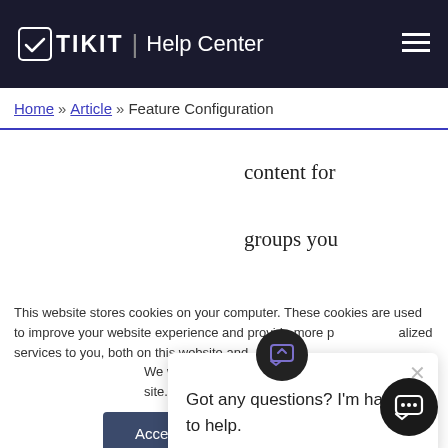TIKIT | Help Center
Home » Article » Feature Configuration
content for groups you are a member of.
This website stores cookies on your computer. These cookies are used to improve your website experience and provide more personalized services to you, both on this website and through other media. To find out more about the cookies we use, see our Privacy Policy.
We won't track your information when you visit our site. But in order to comply with your preferences, we'll have to use just one tiny cookie so that you're not asked to make this choice again.
Accept
Decline
Got any questions? I'm happy to help.